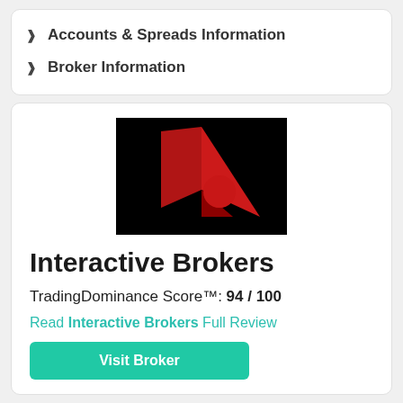> Accounts & Spreads Information
> Broker Information
[Figure (logo): Interactive Brokers logo: red geometric figure (person with arrow) on black background]
Interactive Brokers
TradingDominance Score™: 94 / 100
Read Interactive Brokers Full Review
Visit Broker